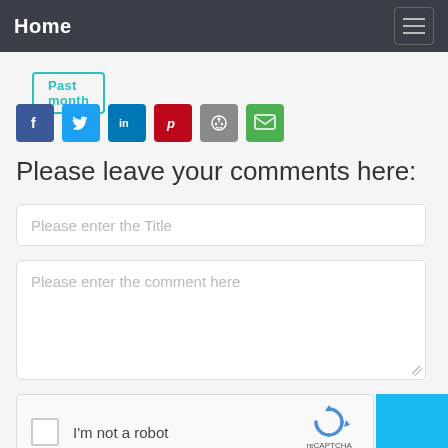Home
Past month
[Figure (infographic): Social share icons: Facebook, Twitter, LinkedIn, Pinterest, Reddit, Email]
Please leave your comments here:
Please enter the Title
Please enter the comment here
I'm not a robot reCAPTCHA Privacy - Terms